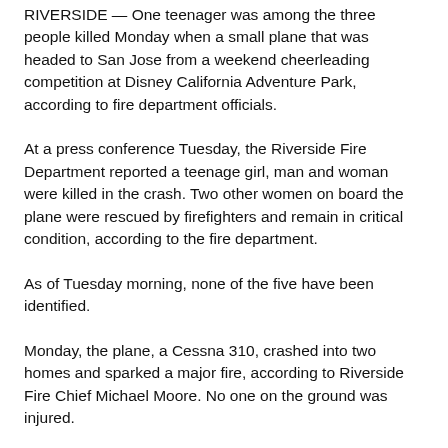RIVERSIDE — One teenager was among the three people killed Monday when a small plane that was headed to San Jose from a weekend cheerleading competition at Disney California Adventure Park, according to fire department officials.
At a press conference Tuesday, the Riverside Fire Department reported a teenage girl, man and woman were killed in the crash. Two other women on board the plane were rescued by firefighters and remain in critical condition, according to the fire department.
As of Tuesday morning, none of the five have been identified.
Monday, the plane, a Cessna 310, crashed into two homes and sparked a major fire, according to Riverside Fire Chief Michael Moore. No one on the ground was injured.
The two surviving victims, described as women in their late 30s to early 40s, were thrown from the plane on impact, Moore said. That allowed firefighters, who arrived at the scene...